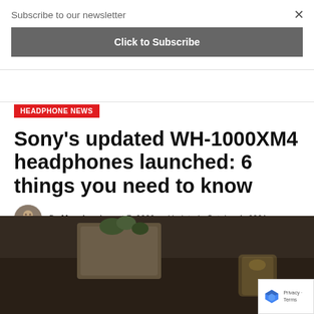Subscribe to our newsletter
Click to Subscribe
HEADPHONE NEWS
Sony's updated WH-1000XM4 headphones launched: 6 things you need to know
By Marcé — August 7, 2020 — Updated: October 1, 2021
No Comments   6 Mins Read
[Figure (photo): Blurred photo of a wooden surface with plants and a glass candle holder]